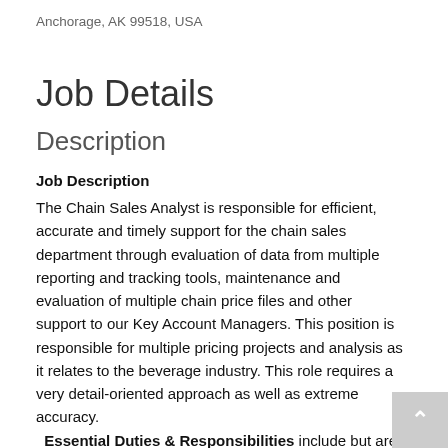Anchorage, AK 99518, USA
Job Details
Description
Job Description
The Chain Sales Analyst is responsible for efficient, accurate and timely support for the chain sales department through evaluation of data from multiple reporting and tracking tools, maintenance and evaluation of multiple chain price files and other support to our Key Account Managers. This position is responsible for multiple pricing projects and analysis as it relates to the beverage industry. This role requires a very detail-oriented approach as well as extreme accuracy.
Essential Duties & Responsibilities include but are not limited to: